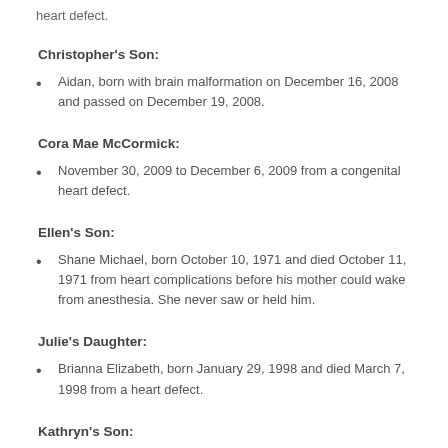heart defect.
Christopher's Son:
Aidan, born with brain malformation on December 16, 2008 and passed on December 19, 2008.
Cora Mae McCormick:
November 30, 2009 to December 6, 2009 from a congenital heart defect.
Ellen's Son:
Shane Michael, born October 10, 1971 and died October 11, 1971 from heart complications before his mother could wake from anesthesia. She never saw or held him.
Julie's Daughter:
Brianna Elizabeth, born January 29, 1998 and died March 7, 1998 from a heart defect.
Kathryn's Son: